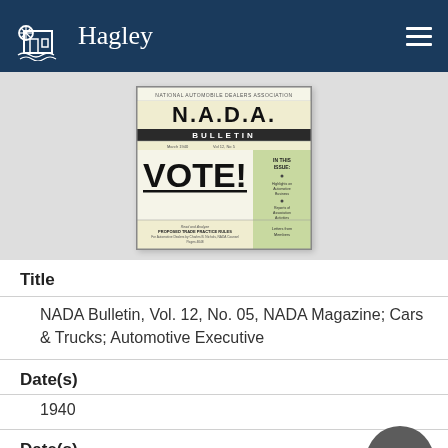Hagley
[Figure (other): Cover of NADA Bulletin, Vol. 12, No. 05 — shows 'N.A.D.A. Bulletin' masthead, large 'VOTE!' heading in bold black text, short body text about motor vehicle industry act, green sidebar with 'IN THIS ISSUE' content, and footer section about proposed trade practice rules.]
Title
NADA Bulletin, Vol. 12, No. 05, NADA Magazine; Cars & Trucks; Automotive Executive
Date(s)
1940
Date(s)